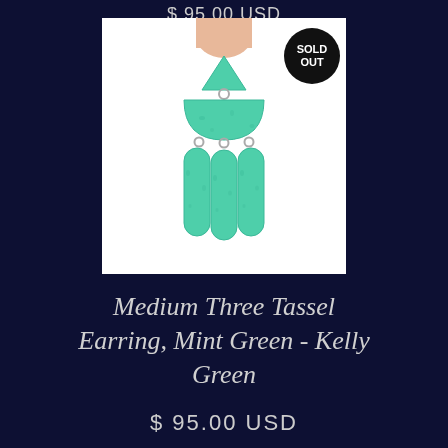$ 95.00 USD
[Figure (photo): A hand holding a mint green/kelly green clay earring with a triangular top piece, a semicircular middle piece, and three long tassel/drop pieces hanging below, connected by small silver rings. A black circular 'SOLD OUT' badge overlays the top right corner of the image.]
Medium Three Tassel Earring, Mint Green - Kelly Green
$ 95.00 USD